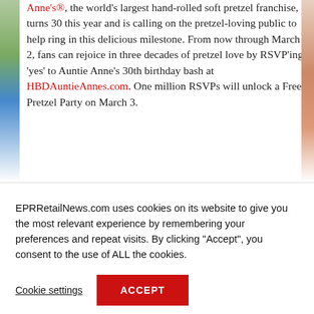Anne's®, the world's largest hand-rolled soft pretzel franchise, turns 30 this year and is calling on the pretzel-loving public to help ring in this delicious milestone. From now through March 2, fans can rejoice in three decades of pretzel love by RSVP'ing 'yes' to Auntie Anne's 30th birthday bash at HBDAuntieAnnes.com. One million RSVPs will unlock a Free Pretzel Party on March 3.
EPRRetailNews.com uses cookies on its website to give you the most relevant experience by remembering your preferences and repeat visits. By clicking "Accept", you consent to the use of ALL the cookies.